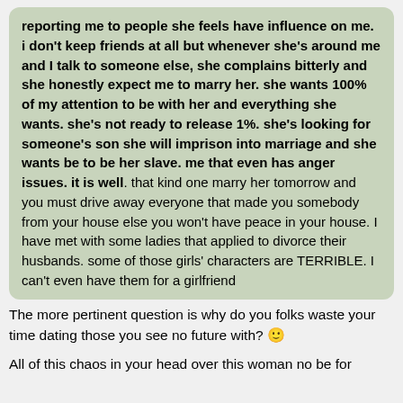reporting me to people she feels have influence on me. i don't keep friends at all but whenever she's around me and I talk to someone else, she complains bitterly and she honestly expect me to marry her. she wants 100% of my attention to be with her and everything she wants. she's not ready to release 1%. she's looking for someone's son she will imprison into marriage and she wants be to be her slave. me that even has anger issues. it is well. that kind one marry her tomorrow and you must drive away everyone that made you somebody from your house else you won't have peace in your house. I have met with some ladies that applied to divorce their husbands. some of those girls' characters are TERRIBLE. I can't even have them for a girlfriend
The more pertinent question is why do you folks waste your time dating those you see no future with? 🙂
All of this chaos in your head over this woman no be for